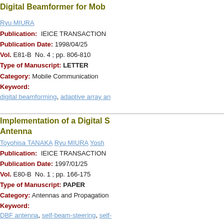Digital Beamformer for Mob
Ryu MIURA
Publication: IEICE TRANSACTION
Publication Date: 1998/04/25
Vol. E81-B No. 4 ; pp. 806-810
Type of Manuscript: LETTER
Category: Mobile Communication
Keyword:
digital beamforming, adaptive array an
Implementation of a Digital S Antenna
Toyohisa TANAKA Ryu MIURA Yosh
Publication: IEICE TRANSACTION
Publication Date: 1997/01/25
Vol. E80-B No. 1 ; pp. 166-175
Type of Manuscript: PAPER
Category: Antennas and Propagation
Keyword:
DBF antenna, self-beam-steering, self-